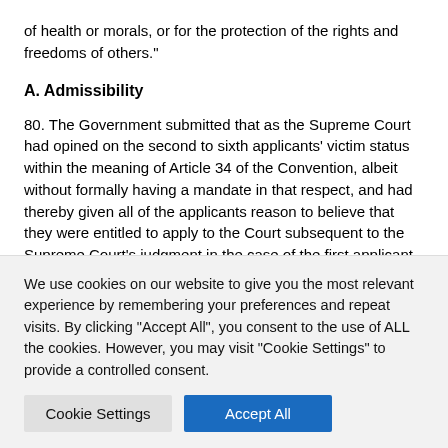of health or morals, or for the protection of the rights and freedoms of others.”
A. Admissibility
80. The Government submitted that as the Supreme Court had opined on the second to sixth applicants’ victim status within the meaning of Article 34 of the Convention, albeit without formally having a mandate in that respect, and had thereby given all of the applicants reason to believe that they were entitled to apply to the Court subsequent to the Supreme Court’s judgment in the case of the first applicant, they would exceptionally take the view that all
We use cookies on our website to give you the most relevant experience by remembering your preferences and repeat visits. By clicking “Accept All”, you consent to the use of ALL the cookies. However, you may visit "Cookie Settings" to provide a controlled consent.